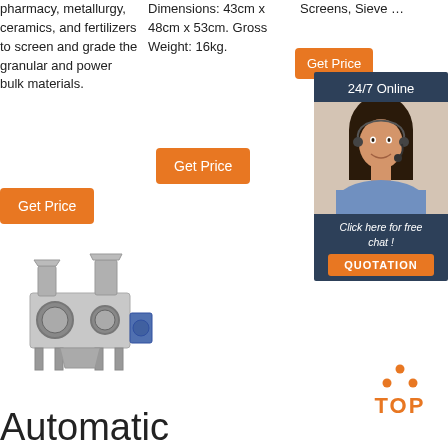pharmacy, metallurgy, ceramics, and fertilizers to screen and grade the granular and power bulk materials.
Get Price
Dimensions: 43cm x 48cm x 53cm. Gross Weight: 16kg.
Get Price
Screens, Sieve …
Get Price
24/7 Online
[Figure (photo): Customer service representative with headset, used for 24/7 online chat widget]
Click here for free chat !
QUOTATION
[Figure (photo): Industrial sieving/screening machine, metallic, with multiple hoppers and motors]
[Figure (other): TOP navigation icon with orange dots arranged in triangle and the word TOP in orange]
Automatic